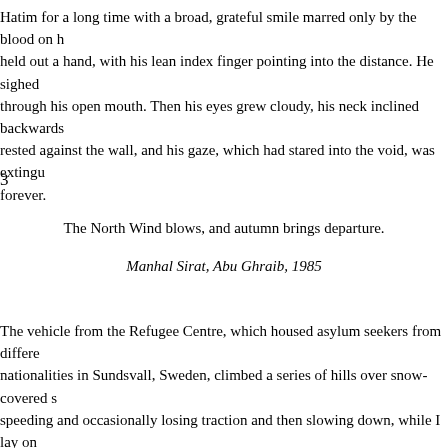Hatim for a long time with a broad, grateful smile marred only by the blood on h held out a hand, with his lean index finger pointing into the distance. He sighed through his open mouth. Then his eyes grew cloudy, his neck inclined backwards rested against the wall, and his gaze, which had stared into the void, was extingu forever.
3
The North Wind blows, and autumn brings departure.
Manhal Sirat, Abu Ghraib, 1985
The vehicle from the Refugee Centre, which housed asylum seekers from differe nationalities in Sundsvall, Sweden, climbed a series of hills over snow-covered speeding and occasionally losing traction and then slowing down, while I lay on seat having trouble breathing. I didn't understand why I had been placed in this the first dreaming I had should have a meaning the transition had ended by